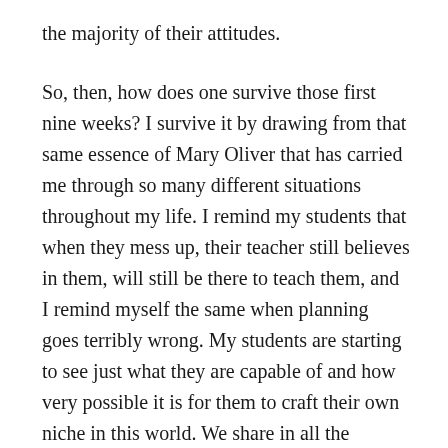the majority of their attitudes.
So, then, how does one survive those first nine weeks? I survive it by drawing from that same essence of Mary Oliver that has carried me through so many different situations throughout my life. I remind my students that when they mess up, their teacher still believes in them, will still be there to teach them, and I remind myself the same when planning goes terribly wrong. My students are starting to see just what they are capable of and how very possible it is for them to craft their own niche in this world. We share in all the learning together: